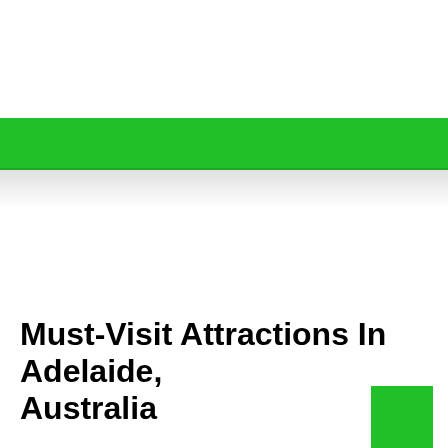[Figure (other): Green horizontal banner/bar across the top portion of the page]
Must-Visit Attractions In Adelaide, Australia